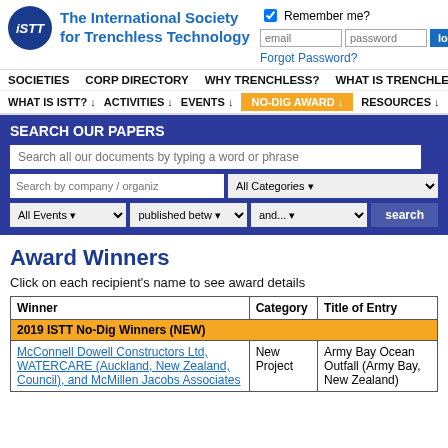The International Society for Trenchless Technology
Remember me? | email | password | Forgot Password?
SOCIETIES   CORP DIRECTORY   WHY TRENCHLESS?   WHAT IS TRENCHLESS?   JOIN
WHAT IS ISTT?   ACTIVITIES   EVENTS   NO-DIG AWARD   RESOURCES
SEARCH OUR PAPERS
Search all our documents by typing a word or phrase
Search by company / organiz | All Categories | All Events | published betw | and... | search
Award Winners
Click on each recipient's name to see award details
| Winner | Category | Title of Entry |
| --- | --- | --- |
| 2019 ISTT No-Dig Winners (NEW) |  |  |
| McConnell Dowell Constructors Ltd, WATERCARE (Auckland, New Zealand, Council), and McMillen Jacobs Associates | New Project | Army Bay Ocean Outfall (Army Bay, New Zealand) |